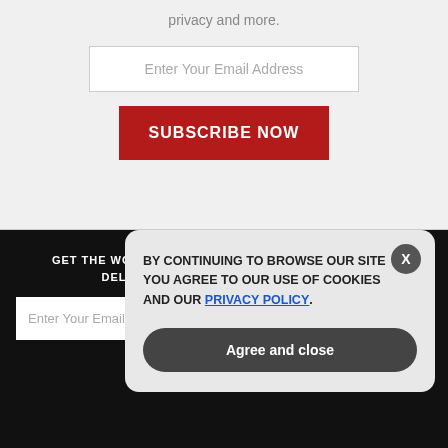privacy and more.
Enter Your Email Address
SUBSCRIBE NOW
GET THE WORLD'S BEST NATURAL HEALTH NEWSLETTER DELIVERED STRAIGHT TO YOUR INBOX
Enter Your Email Address
SUBSCRIBE
BY CONTINUING TO BROWSE OUR SITE YOU AGREE TO OUR USE OF COOKIES AND OUR PRIVACY POLICY.
Agree and close